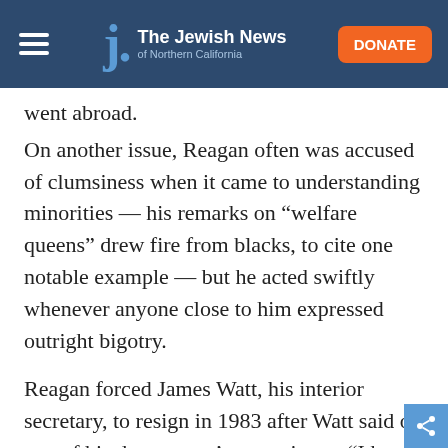The Jewish News of Northern California
went abroad.
On another issue, Reagan often was accused of clumsiness when it came to understanding minorities — his remarks on “welfare queens” drew fire from blacks, to cite one notable example — but he acted swiftly whenever anyone close to him expressed outright bigotry.
Reagan forced James Watt, his interior secretary, to resign in 1983 after Watt said of one of his department’s committees, “I have a black, a woman, two Jews and a cripple. And we have talent.”